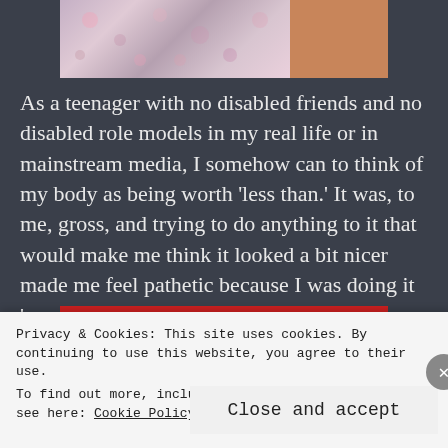[Figure (photo): Partial photo of a person wearing a floral dress, with skin visible on the right side]
As a teenager with no disabled friends and no disabled role models in my real life or in mainstream media, I somehow can to think of my body as being worth ‘less than.’ It was, to me, gross, and trying to do anything to it that would make me think it looked a bit nicer made me feel pathetic because I was doing it ‘wrong’.
[Figure (photo): A red smartphone on a red background, showing camera and navigation buttons]
Privacy & Cookies: This site uses cookies. By continuing to use this website, you agree to their use.
To find out more, including how to control cookies, see here: Cookie Policy
Close and accept